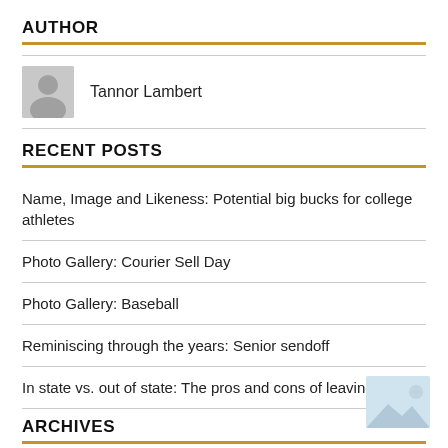AUTHOR
[Figure (illustration): Silhouette avatar of a person in gray, representing author Tannor Lambert]
Tannor Lambert
RECENT POSTS
Name, Image and Likeness: Potential big bucks for college athletes
Photo Gallery: Courier Sell Day
Photo Gallery: Baseball
Reminiscing through the years: Senior sendoff
In state vs. out of state: The pros and cons of leaving
ARCHIVES
May 2022